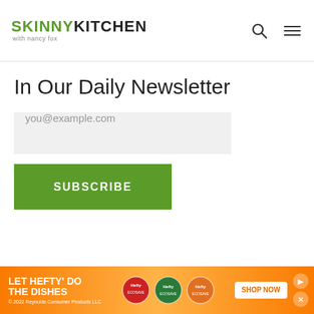SKINNY KITCHEN with nancy fox
In Our Daily Newsletter
you@example.com
SUBSCRIBE
[Figure (other): Advertisement banner: LET HEFTY DO THE DISHES with Hefty EcoSave products and SHOP NOW button]
© 2022 Reynolds Consumer Products LLC